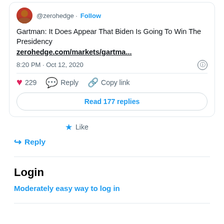[Figure (screenshot): Screenshot of a tweet card from @zerohedge with Follow link. Contains tweet text 'Gartman: It Does Appear That Biden Is Going To Win The Presidency', a link 'zerohedge.com/markets/gartma...', timestamp '8:20 PM · Oct 12, 2020', 229 likes, Reply and Copy link actions, and a 'Read 177 replies' button.]
Like
Reply
Login
Moderately easy way to log in